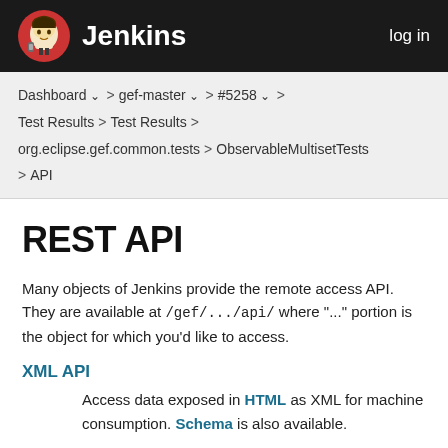Jenkins  log in
Dashboard > gef-master > #5258 > Test Results > Test Results > org.eclipse.gef.common.tests > ObservableMultisetTests > API
REST API
Many objects of Jenkins provide the remote access API. They are available at /gef/.../api/ where "..." portion is the object for which you'd like to access.
XML API
Access data exposed in HTML as XML for machine consumption. Schema is also available.
You can also specify optional XPath to control the